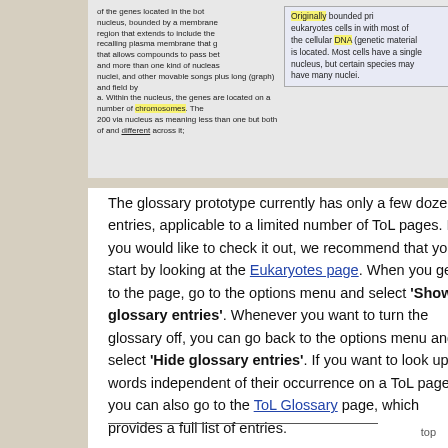[Figure (screenshot): Blurred/partially visible top section of a web page showing text about cells and a popup box with highlighted yellow terms. Text is partially legible showing content about cells, nucleus, and nuclei.]
The glossary prototype currently has only a few dozen entries, applicable to a limited number of ToL pages. If you would like to check it out, we recommend that you start by looking at the Eukaryotes page. When you get to the page, go to the options menu and select 'Show glossary entries'. Whenever you want to turn the glossary off, you can go back to the options menu and select 'Hide glossary entries'. If you want to look up words independent of their occurrence on a ToL page, you can also go to the ToL Glossary page, which provides a full list of entries.
top